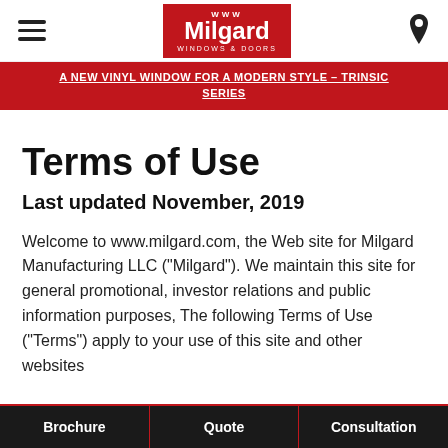Milgard Windows & Doors — navigation header with hamburger menu and location icon
A NEW VINYL WINDOW FOR A MODERN STYLE – TRINSIC SERIES
Terms of Use
Last updated November, 2019
Welcome to www.milgard.com, the Web site for Milgard Manufacturing LLC ("Milgard"). We maintain this site for general promotional, investor relations and public information purposes, The following Terms of Use ("Terms") apply to your use of this site and other websites
Brochure | Quote | Consultation